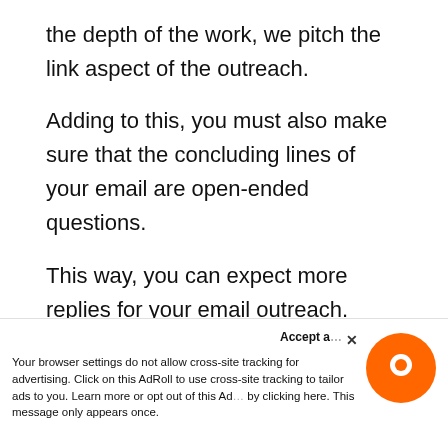the depth of the work, we pitch the link aspect of the outreach.
Adding to this, you must also make sure that the concluding lines of your email are open-ended questions.
This way, you can expect more replies for your email outreach.
4. Build Lasting Relationships with the Bloggers
Once you get a response from the bloggers, you have the opportunity to seize a long-term
Your browser settings do not allow cross-site tracking for advertising. Click on this AdRoll to use cross-site tracking to tailor ads to you. Learn more or opt out of this AdRoll by clicking here. This message only appears once.